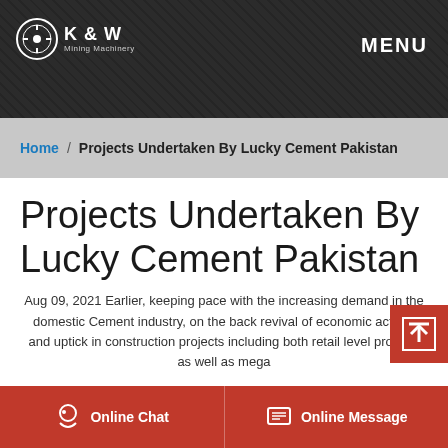[Figure (logo): K&W Mining Machinery logo with circular icon on dark textured background]
MENU
Home / Projects Undertaken By Lucky Cement Pakistan
Projects Undertaken By Lucky Cement Pakistan
Aug 09, 2021 Earlier, keeping pace with the increasing demand in the domestic Cement industry, on the back revival of economic activity and uptick in construction projects including both retail level projects as well as mega
Online Chat   Online Message